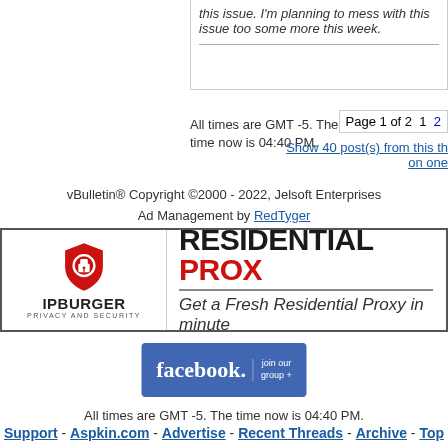this issue. I'm planning to mess with this issue too some more this week.
All times are GMT -5. The time now is 04:40 PM.
Page 1 of 2  1  2
Show 40 post(s) from this th on one
vBulletin® Copyright ©2000 - 2022, Jelsoft Enterprises Ad Management by RedTyger
[Figure (infographic): IPBurger privacy and security ad banner - RESIDENTIAL PROX - Get a Fresh Residential Proxy in minute]
[Figure (logo): Facebook join our group + banner button]
All times are GMT -5. The time now is 04:40 PM.
Support - Aspkin.com - Advertise - Recent Threads - Archive - Top